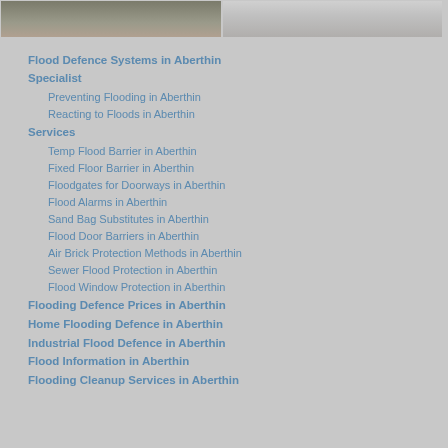[Figure (photo): Two photos side by side at top of page - left shows flood/water scene, right shows what appears to be flood defence equipment]
Flood Defence Systems in Aberthin Specialist
Preventing Flooding in Aberthin
Reacting to Floods in Aberthin
Services
Temp Flood Barrier in Aberthin
Fixed Floor Barrier in Aberthin
Floodgates for Doorways in Aberthin
Flood Alarms in Aberthin
Sand Bag Substitutes in Aberthin
Flood Door Barriers in Aberthin
Air Brick Protection Methods in Aberthin
Sewer Flood Protection in Aberthin
Flood Window Protection in Aberthin
Flooding Defence Prices in Aberthin
Home Flooding Defence in Aberthin
Industrial Flood Defence in Aberthin
Flood Information in Aberthin
Flooding Cleanup Services in Aberthin